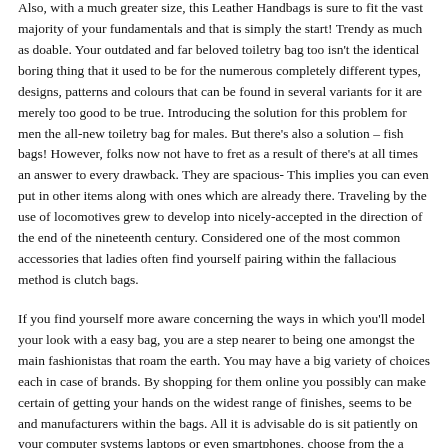Also, with a much greater size, this Leather Handbags is sure to fit the vast majority of your fundamentals and that is simply the start! Trendy as much as doable. Your outdated and far beloved toiletry bag too isn't the identical boring thing that it used to be for the numerous completely different types, designs, patterns and colours that can be found in several variants for it are merely too good to be true. Introducing the solution for this problem for men the all-new toiletry bag for males. But there's also a solution – fish bags! However, folks now not have to fret as a result of there's at all times an answer to every drawback. They are spacious- This implies you can even put in other items along with ones which are already there. Traveling by the use of locomotives grew to develop into nicely-accepted in the direction of the end of the nineteenth century. Considered one of the most common accessories that ladies often find yourself pairing within the fallacious method is clutch bags.
If you find yourself more aware concerning the ways in which you'll model your look with a easy bag, you are a step nearer to being one amongst the main fashionistas that roam the earth. You may have a big variety of choices each in case of brands. By shopping for them online you possibly can make certain of getting your hands on the widest range of finishes, seems to be and manufacturers within the bags. All it is advisable do is sit patiently on your computer systems laptops or even smartphones, choose from the a whole bunch and 1000's of global brands and just order your stuff. Their stocks as online market has the utmost stocks of any model which even the shops can not provide you with every time. Women can even use them to calculate the conventional common life resembling buying, grocery, getting ready for the picnic, holiday bags, function of the training purposes and most significantly going to the workplace. Regardless of whether any person is searching for swimmer bag or divers